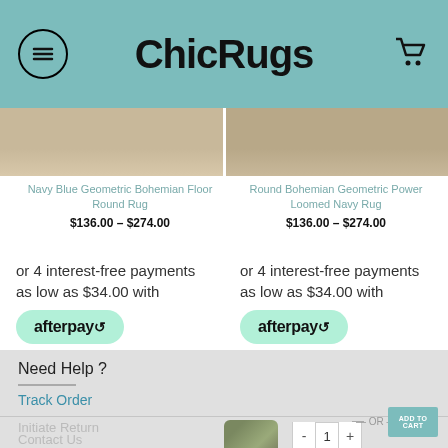ChicRugs
[Figure (screenshot): Two product rug images side by side - navy blue geometric bohemian rugs]
Navy Blue Geometric Bohemian Floor Round Rug
$136.00 – $274.00
Round Bohemian Geometric Power Loomed Navy Rug
$136.00 – $274.00
or 4 interest-free payments as low as $34.00 with afterpay
or 4 interest-free payments as low as $34.00 with afterpay
Need Help ?
Track Order
Initiate Return
Contact Us